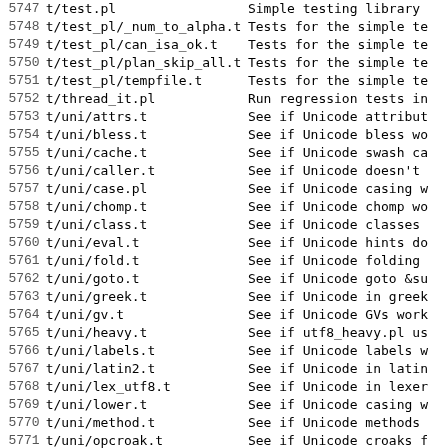| # | File | Description |
| --- | --- | --- |
| 5747 | t/test.pl | Simple testing library |
| 5748 | t/test_pl/_num_to_alpha.t | Tests for the simple te |
| 5749 | t/test_pl/can_isa_ok.t | Tests for the simple te |
| 5750 | t/test_pl/plan_skip_all.t | Tests for the simple te |
| 5751 | t/test_pl/tempfile.t | Tests for the simple te |
| 5752 | t/thread_it.pl | Run regression tests in |
| 5753 | t/uni/attrs.t | See if Unicode attribut |
| 5754 | t/uni/bless.t | See if Unicode bless wo |
| 5755 | t/uni/cache.t | See if Unicode swash ca |
| 5756 | t/uni/caller.t | See if Unicode doesn't |
| 5757 | t/uni/case.pl | See if Unicode casing w |
| 5758 | t/uni/chomp.t | See if Unicode chomp wo |
| 5759 | t/uni/class.t | See if Unicode classes |
| 5760 | t/uni/eval.t | See if Unicode hints do |
| 5761 | t/uni/fold.t | See if Unicode folding |
| 5762 | t/uni/goto.t | See if Unicode goto &su |
| 5763 | t/uni/greek.t | See if Unicode in greek |
| 5764 | t/uni/gv.t | See if Unicode GVs work |
| 5765 | t/uni/heavy.t | See if utf8_heavy.pl us |
| 5766 | t/uni/labels.t | See if Unicode labels w |
| 5767 | t/uni/latin2.t | See if Unicode in latin |
| 5768 | t/uni/lex_utf8.t | See if Unicode in lexer |
| 5769 | t/uni/lower.t | See if Unicode casing w |
| 5770 | t/uni/method.t | See if Unicode methods |
| 5771 | t/uni/opcroak.t | See if Unicode croaks f |
| 5772 | t/uni/overload.t | See if Unicode overload |
| 5773 | t/uni/package.t | See if Unicode in packa |
| 5774 | t/uni/parser.t | See if Unicode in the p |
| 5775 | t/uni/readline.t | See if Unicode filehand |
| 5776 | t/uni/select.t | See if Unicode filehand |
| 5777 | t/uni/sprintf.t | See if Unicode sprintf |
| 5778 | t/uni/stash.t | See if Unicode stashes |